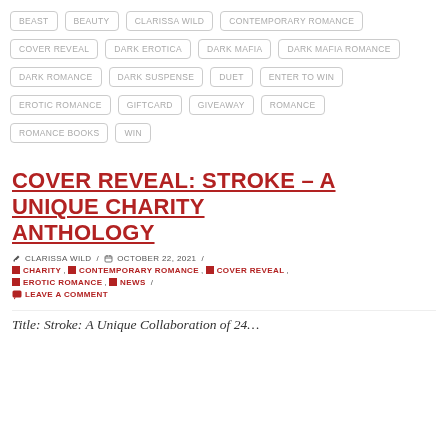BEAST
BEAUTY
CLARISSA WILD
CONTEMPORARY ROMANCE
COVER REVEAL
DARK EROTICA
DARK MAFIA
DARK MAFIA ROMANCE
DARK ROMANCE
DARK SUSPENSE
DUET
ENTER TO WIN
EROTIC ROMANCE
GIFTCARD
GIVEAWAY
ROMANCE
ROMANCE BOOKS
WIN
COVER REVEAL: STROKE – A UNIQUE CHARITY ANTHOLOGY
CLARISSA WILD / OCTOBER 22, 2021 / CHARITY, CONTEMPORARY ROMANCE, COVER REVEAL, EROTIC ROMANCE, NEWS / LEAVE A COMMENT
Title: Stroke: A Unique Collaboration of 24…